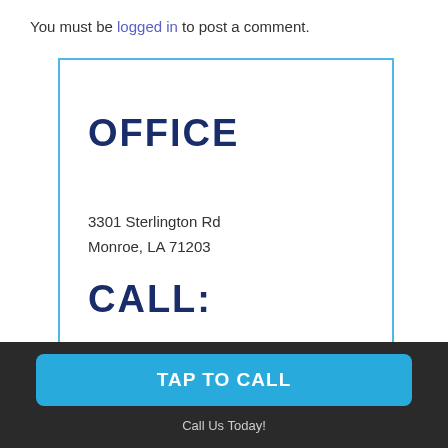You must be logged in to post a comment.
[Figure (infographic): Office contact card with blue border showing address 3301 Sterlington Rd, Monroe, LA 71203 and phone number (318) 325-3254]
[Figure (map): Partial Google Maps screenshot showing Chauvin Swamp Tract area with Brookshire's marker]
TAP TO CALL
Call Us Today!